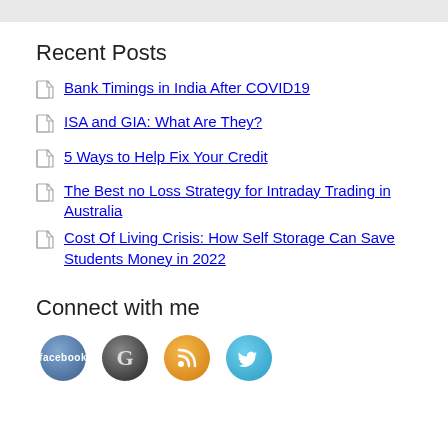Recent Posts
Bank Timings in India After COVID19
ISA and GIA: What Are They?
5 Ways to Help Fix Your Credit
The Best no Loss Strategy for Intraday Trading in Australia
Cost Of Living Crisis: How Self Storage Can Save Students Money in 2022
Connect with me
[Figure (illustration): Four social media icon buttons in a row: Facebook (blue circle with 'facebook' text), Google/G (dark circle with G), RSS (orange circle with RSS signal icon), Twitter (light blue circle with bird icon)]